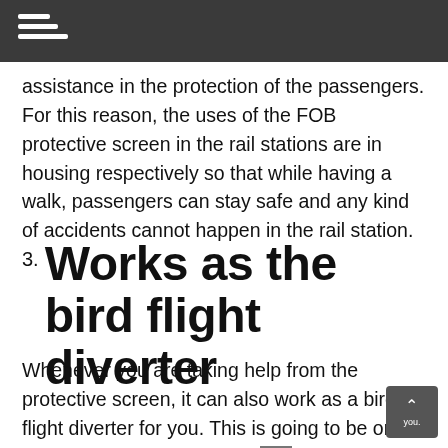assistance in the protection of the passengers. For this reason, the uses of the FOB protective screen in the rail stations are in housing respectively so that while having a walk, passengers can stay safe and any kind of accidents cannot happen in the rail station.
3. Works as the bird flight diverter
Whenever you are taking help from the protective screen, it can also work as a bird flight diverter for you. This is going to be one of the best assistance from the end of the protective screen that they can give to you. You need to get assistance from the end of the bird's